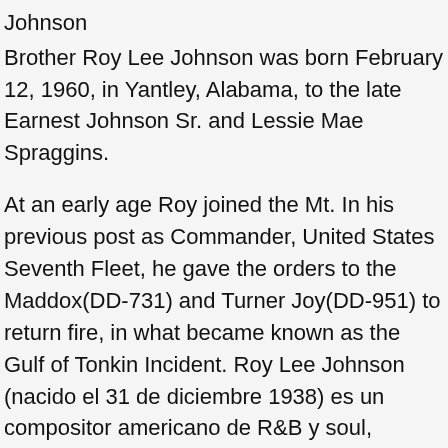Johnson
Brother Roy Lee Johnson was born February 12, 1960, in Yantley, Alabama, to the late Earnest Johnson Sr. and Lessie Mae Spraggins.
At an early age Roy joined the Mt. In his previous post as Commander, United States Seventh Fleet, he gave the orders to the Maddox(DD-731) and Turner Joy(DD-951) to return fire, in what became known as the Gulf of Tonkin Incident. Roy Lee Johnson (nacido el 31 de diciembre 1938) es un compositor americano de R&B y soul, cantante y guitarrista. Roy Lee Johnson is similar to these topics: Eddie Hinton, Bettye LaVette, Leela James and more. Here is Roy Lee Johnson's obituary. Please accept Echovita's sincere condolences. Topics similar to like Roy Lee Johnson, Roy Lee Johnson, Roy Lee...